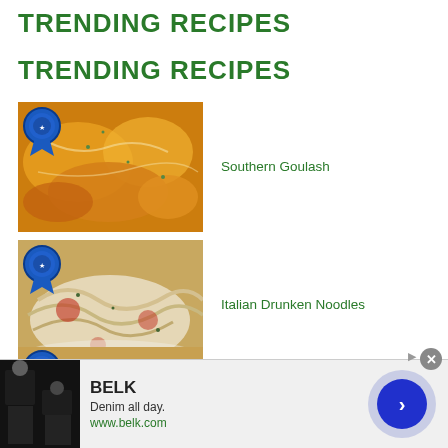TRENDING RECIPES
TRENDING RECIPES
[Figure (photo): Close-up of Southern Goulash with melted cheese and pasta, with a blue ribbon badge overlay]
Southern Goulash
[Figure (photo): Close-up of Italian Drunken Noodles with pasta and tomato sauce on a white plate, with a blue ribbon badge overlay]
Italian Drunken Noodles
[Figure (photo): Close-up of Peaches & Cream Oatmeal Cookies, with a blue ribbon badge overlay]
Peaches & Cream Oatmeal Cookies
[Figure (screenshot): Advertisement banner for BELK. Shows denim clothing images, brand name BELK, tagline 'Denim all day.', URL www.belk.com, and a blue arrow button.]